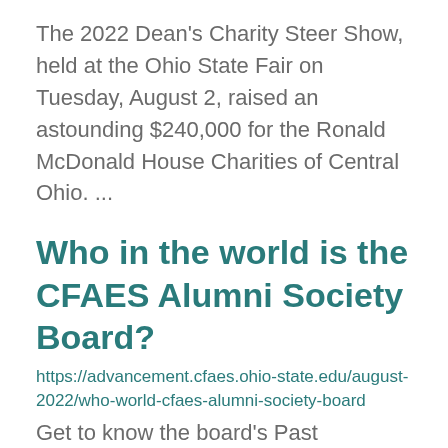The 2022 Dean's Charity Steer Show, held at the Ohio State Fair on Tuesday, August 2, raised an astounding $240,000 for the Ronald McDonald House Charities of Central Ohio. ...
Who in the world is the CFAES Alumni Society Board?
https://advancement.cfaes.ohio-state.edu/august-2022/who-world-cfaes-alumni-society-board
Get to know the board's Past President and 2021-2022 Academic Year Representative! ...
Farm Science Review celebrates 60